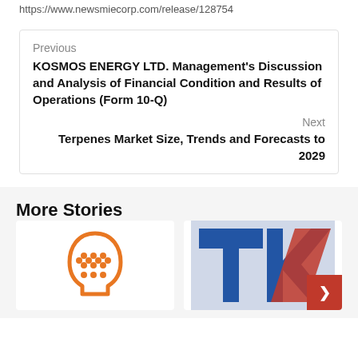https://www.newsmiecorp.com/release/128754
Previous
KOSMOS ENERGY LTD. Management's Discussion and Analysis of Financial Condition and Results of Operations (Form 10-Q)
Next
Terpenes Market Size, Trends and Forecasts to 2029
More Stories
[Figure (illustration): Orange brain/head icon with dots pattern inside]
[Figure (logo): TK logo in blue and red with a red badge/button overlay]